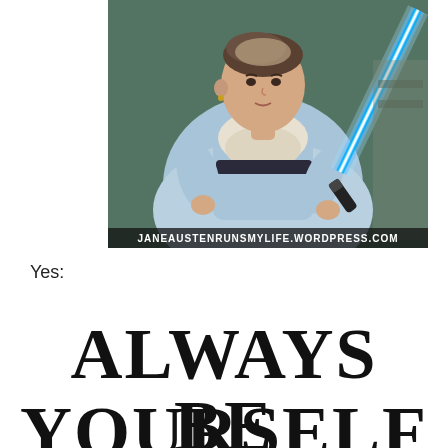[Figure (illustration): A humorous meme image of a woman in a Regency-era blue dress (resembling a Jane Austen portrait) holding a blue lightsaber. The image has a watermark at the bottom reading 'JANEAUSTENRUNSMYLIFE.WORDPRESS.COM'.]
Yes:
ALWAYS BE YOURSELF